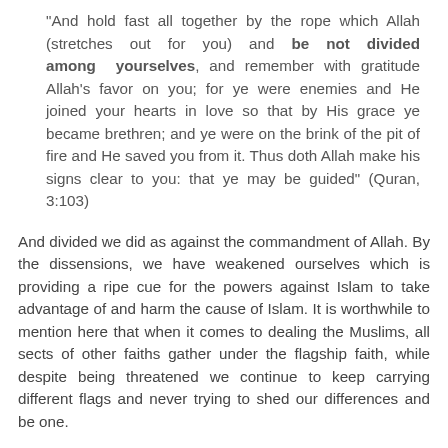“And hold fast all together by the rope which Allah (stretches out for you) and be not divided among yourselves, and remember with gratitude Allah’s favor on you; for ye were enemies and He joined your hearts in love so that by His grace ye became brethren; and ye were on the brink of the pit of fire and He saved you from it. Thus doth Allah make his signs clear to you: that ye may be guided” (Quran, 3:103)
And divided we did as against the commandment of Allah. By the dissensions, we have weakened ourselves which is providing a ripe cue for the powers against Islam to take advantage of and harm the cause of Islam. It is worthwhile to mention here that when it comes to dealing the Muslims, all sects of other faiths gather under the flagship faith, while despite being threatened we continue to keep carrying different flags and never trying to shed our differences and be one.
The difference between the two branches is the discord over a religio-political leadership dispute about the rightful